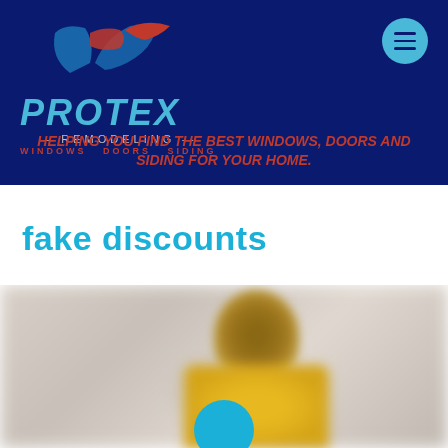[Figure (logo): Protex Remodeling logo with stylized bird/shield icon in blue and red, company name PROTEX in large cyan italic letters, REMODELING subtitle, WINDOWS DOORS SIDING tagline]
HELPING YOU FIND THE BEST WINDOWS, DOORS AND SIDING FOR YOUR HOME.
fake discounts
[Figure (photo): Blurred photo of a person, appears to be a woman with dark hair wearing a yellow top, background is blurred gray/beige. A cyan circle is visible at the very bottom center.]